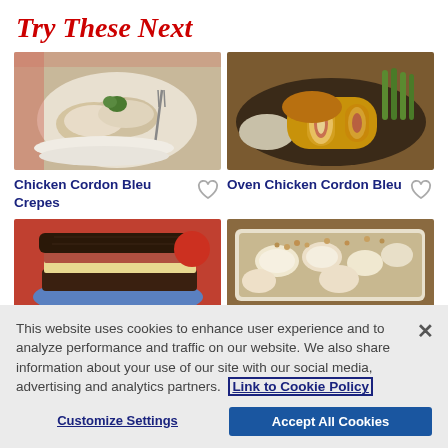Try These Next
[Figure (photo): Chicken Cordon Bleu Crepes dish on a plate with fork]
[Figure (photo): Oven Chicken Cordon Bleu sliced on a dark plate with asparagus and pasta]
Chicken Cordon Bleu Crepes
Oven Chicken Cordon Bleu
[Figure (photo): Sandwich on dark rye bread with meat and cheese filling on a plate]
[Figure (photo): Casserole dish with creamy chicken dish and breadcrumb topping]
This website uses cookies to enhance user experience and to analyze performance and traffic on our website. We also share information about your use of our site with our social media, advertising and analytics partners. Link to Cookie Policy
Customize Settings
Accept All Cookies